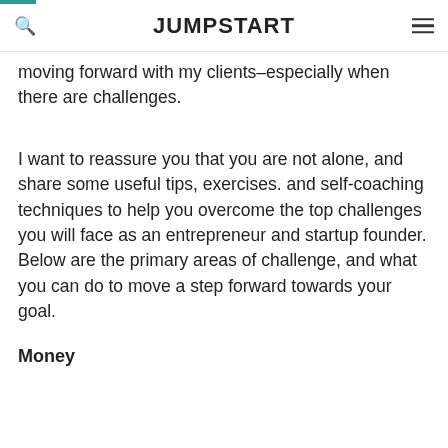JUMPSTART
moving forward with my clients–especially when there are challenges.
I want to reassure you that you are not alone, and share some useful tips, exercises. and self-coaching techniques to help you overcome the top challenges you will face as an entrepreneur and startup founder. Below are the primary areas of challenge, and what you can do to move a step forward towards your goal.
Money